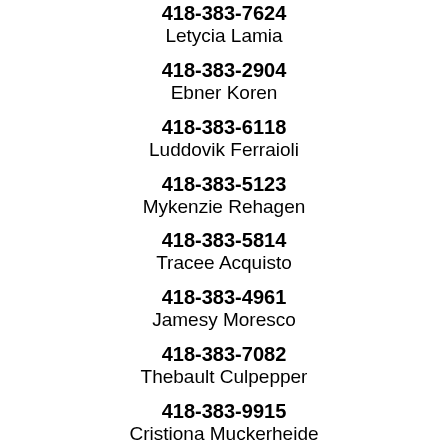418-383-7624
Letycia Lamia
418-383-2904
Ebner Koren
418-383-6118
Luddovik Ferraioli
418-383-5123
Mykenzie Rehagen
418-383-5814
Tracee Acquisto
418-383-4961
Jamesy Moresco
418-383-7082
Thebault Culpepper
418-383-9915
Cristiona Muckerheide
418-383-7894
Diedra Spickerman